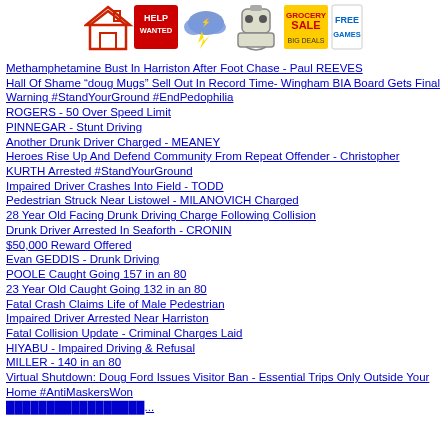[Figure (other): Row of small banner/ad icons: house icon, HELP WANTED sign, storm cloud with lightning, robot/ghost figure, grocery sale ad, FREE GAMES text logo]
Methamphetamine Bust In Harriston After Foot Chase - Paul REEVES
Hall Of Shame “doug Mugs” Sell Out In Record Time- Wingham BIA Board Gets Final Warning #StandYourGround #EndPedophilia
ROGERS - 50 Over Speed Limit
PINNEGAR - Stunt Driving
Another Drunk Driver Charged - MEANEY
Heroes Rise Up And Defend Community From Repeat Offender - Christopher KURTH Arrested #StandYourGround
Impaired Driver Crashes Into Field - TODD
Pedestrian Struck Near Listowel - MILANOVICH Charged
28 Year Old Facing Drunk Driving Charge Following Collision
Drunk Driver Arrested In Seaforth - CRONIN
$50,000 Reward Offered
Evan GEDDIS - Drunk Driving
POOLE Caught Going 157 in an 80
23 Year Old Caught Going 132 in an 80
Fatal Crash Claims Life of Male Pedestrian
Impaired Driver Arrested Near Harriston
Fatal Collision Update - Criminal Charges Laid
HIYABU - Impaired Driving & Refusal
MILLER - 140 in an 80
Virtual Shutdown: Doug Ford Issues Visitor Ban - Essential Trips Only Outside Your Home #AntiMaskersWon
[partially visible link text cut off at bottom]